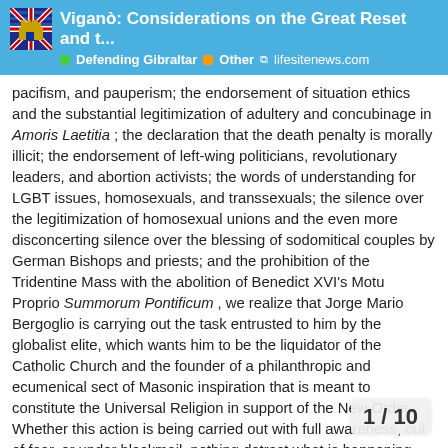Viganò: Considerations on the Great Reset and t... | Defending Gibraltar | Other | lifesitenews.com
pacifism, and pauperism; the endorsement of situation ethics and the substantial legitimization of adultery and concubinage in Amoris Laetitia ; the declaration that the death penalty is morally illicit; the endorsement of left-wing politicians, revolutionary leaders, and abortion activists; the words of understanding for LGBT issues, homosexuals, and transsexuals; the silence over the legitimization of homosexual unions and the even more disconcerting silence over the blessing of sodomitical couples by German Bishops and priests; and the prohibition of the Tridentine Mass with the abolition of Benedict XVI's Motu Proprio Summorum Pontificum , we realize that Jorge Mario Bergoglio is carrying out the task entrusted to him by the globalist elite, which wants him to be the liquidator of the Catholic Church and the founder of a philanthropic and ecumenical sect of Masonic inspiration that is meant to constitute the Universal Religion in support of the New Order. Whether this action is being carried out with full awareness, out of fear, or under blackmail, nothing detract what is happening, nor from the moral resp
1 / 10